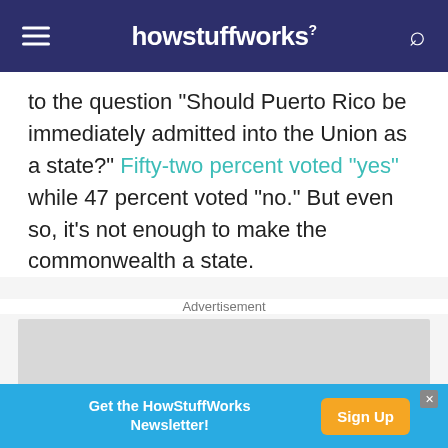howstuffworks
to the question "Should Puerto Rico be immediately admitted into the Union as a state?" Fifty-two percent voted "yes" while 47 percent voted "no." But even so, it's not enough to make the commonwealth a state.
Advertisement
[Figure (other): Gray advertisement placeholder box]
[Figure (other): Bottom banner advertisement: Get the HowStuffWorks Newsletter! Sign Up button]